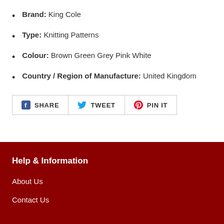Brand: King Cole
Type: Knitting Patterns
Colour: Brown Green Grey Pink White
Country / Region of Manufacture: United Kingdom
[Figure (infographic): Social sharing buttons: SHARE (Facebook), TWEET (Twitter), PIN IT (Pinterest)]
Help & Information
About Us
Contact Us